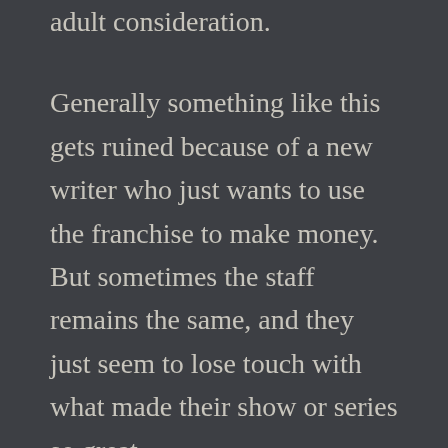adult consideration.
Generally something like this gets ruined because of a new writer who just wants to use the franchise to make money. But sometimes the staff remains the same, and they just seem to lose touch with what made their show or series so great.
(Forgive me, but I think this happened with the Percy Jackson series when it